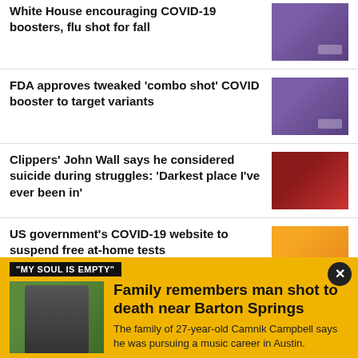White House encouraging COVID-19 boosters, flu shot for fall
[Figure (photo): Close-up of vaccination with blue gloved hands]
FDA approves tweaked ‘combo shot’ COVID booster to target variants
[Figure (photo): Close-up of vaccination with blue gloved hands]
Clippers' John Wall says he considered suicide during struggles: 'Darkest place I've ever been in'
[Figure (photo): Portrait of John Wall in red athletic wear]
US government's COVID-19 website to suspend free at-home tests
[Figure (photo): COVID at-home test kit packaging]
"MY SOUL IS EMPTY"
[Figure (photo): Man standing outdoors with camera equipment]
Family remembers man shot to death near Barton Springs
The family of 27-year-old Camnik Campbell says he was pursuing a music career in Austin.